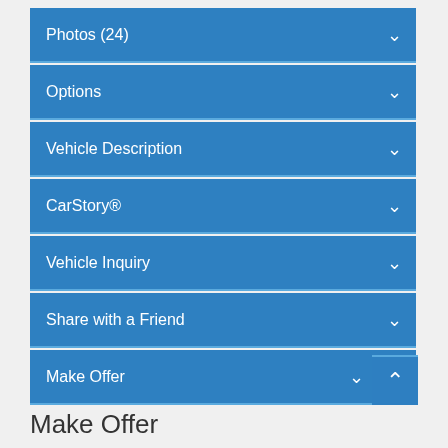Photos (24)
Options
Vehicle Description
CarStory®
Vehicle Inquiry
Share with a Friend
Make Offer
Make Offer